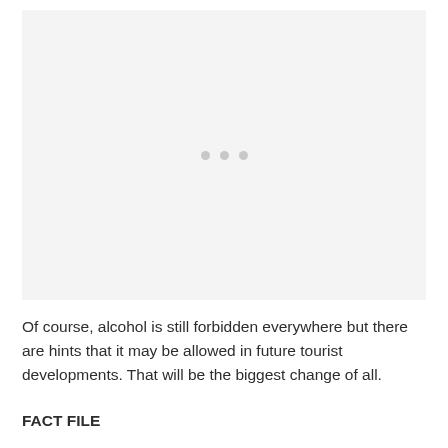[Figure (other): Large light gray placeholder image area with three small gray dots centered in the middle, indicating a loading or missing image.]
Of course, alcohol is still forbidden everywhere but there are hints that it may be allowed in future tourist developments. That will be the biggest change of all.
FACT FILE